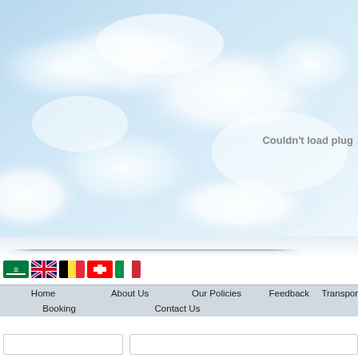[Figure (photo): Sky background with white clouds on light blue sky]
Couldn't load plug
[Figure (infographic): Row of country flag icons: Saudi Arabia, UK, Belgium, Switzerland, Italy]
Home   About Us   Our Policies   Feedback   Transport
Booking   Contact Us